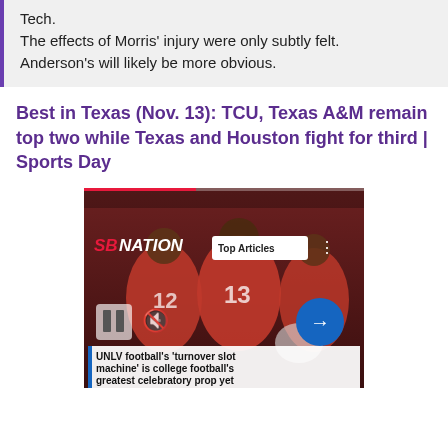Tech.

The effects of Morris' injury were only subtly felt. Anderson's will likely be more obvious.
Best in Texas (Nov. 13): TCU, Texas A&M remain top two while Texas and Houston fight for third | Sports Day
[Figure (screenshot): Video player thumbnail showing football players in red jerseys. SBNation logo in red italic text upper left. 'Top Articles' button in white upper center. Pause and mute controls visible. Blue arrow button on right side. Caption bar at bottom reads: UNLV football's 'turnover slot machine' is college football's greatest celebratory prop yet]
UNLV football's 'turnover slot machine' is college football's greatest celebratory prop yet